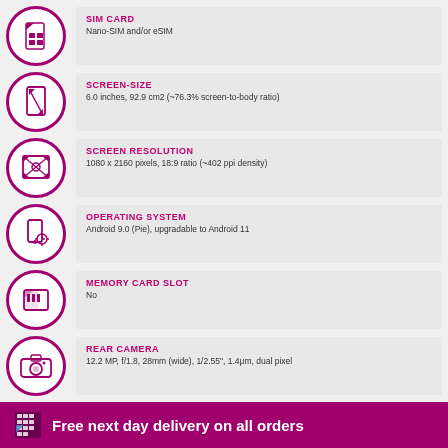SIM CARD: Nano-SIM and/or eSIM
SCREEN-SIZE: 6.0 inches, 92.9 cm2 (~76.3% screen-to-body ratio)
SCREEN RESOLUTION: 1080 x 2160 pixels, 18:9 ratio (~402 ppi density)
OPERATING SYSTEM: Android 9.0 (Pie), upgradable to Android 11
MEMORY CARD SLOT: No
REAR CAMERA: 12.2 MP, f/1.8, 28mm (wide), 1/2.55", 1.4μm, dual pixel
Free next day delivery on all orders